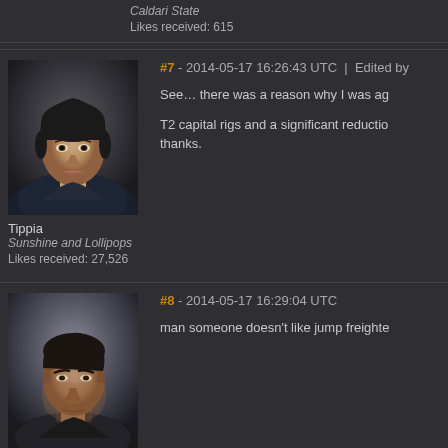Caldari State
Likes received: 615
[Figure (photo): Forum avatar portrait of Tippia - a female character with dark hair]
Tippia
Sunshine and Lollipops
Likes received: 27,526
#7 - 2014-05-17 16:26:43 UTC | Edited by
See… there was a reason why I was ag

T2 capital rigs and a significant reductio... thanks.
[Figure (photo): Forum avatar portrait of Rotar Avovmono - a male character with dark hair]
#8 - 2014-05-17 16:29:04 UTC
man someone doesn't like jump freighte
Rotar Avovmono